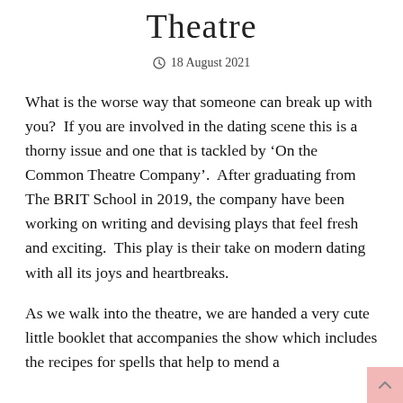Theatre
18 August 2021
What is the worse way that someone can break up with you?  If you are involved in the dating scene this is a thorny issue and one that is tackled by ‘On the Common Theatre Company’.  After graduating from The BRIT School in 2019, the company have been working on writing and devising plays that feel fresh and exciting.  This play is their take on modern dating with all its joys and heartbreaks.
As we walk into the theatre, we are handed a very cute little booklet that accompanies the show which includes the recipes for spells that help to mend a